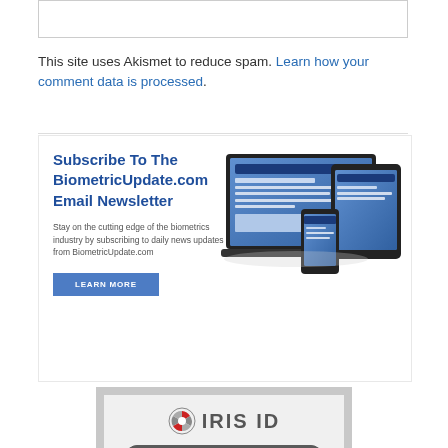[Figure (other): Empty text input box at top of page]
This site uses Akismet to reduce spam. Learn how your comment data is processed.
[Figure (infographic): BiometricUpdate.com Email Newsletter subscription advertisement with laptop, tablet, and phone devices showing the website, a 'LEARN MORE' button, and text: Subscribe To The BiometricUpdate.com Email Newsletter. Stay on the cutting edge of the biometrics industry by subscribing to daily news updates from BiometricUpdate.com]
[Figure (infographic): Iris ID product advertisement showing IrisTime device with iris scanner camera, logo with spinner icon, and product name IrisTime with TM mark]